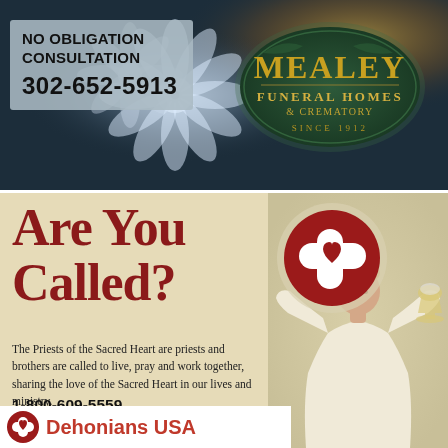[Figure (photo): Mealey Funeral Homes & Crematory advertisement with flowers and candles background. Shows 'NO OBLIGATION CONSULTATION 302-652-5913' text and the Mealey Funeral Homes & Crematory Since 1912 oval logo.]
[Figure (infographic): Dehonians USA / Priests of the Sacred Heart advertisement on beige background. Includes 'Are You Called?' heading in dark red, Sacred Heart cross-with-heart icon, body text about the Priests of the Sacred Heart, phone 1-800-609-5559, email vocationscentral@wi.twcbc.com, Dehonians USA logo at bottom.]